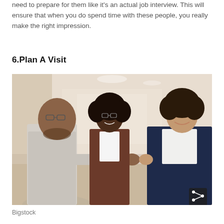need to prepare for them like it's an actual job interview. This will ensure that when you do spend time with these people, you really make the right impression.
6.Plan A Visit
[Figure (photo): Three professionals in a business lobby: a man in a light grey suit shaking hands with a woman in a navy blue suit, while a second woman in a brown suit stands smiling in the background.]
Bigstock